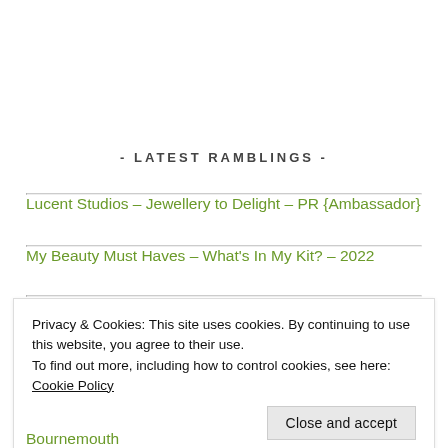- LATEST RAMBLINGS -
Lucent Studios – Jewellery to Delight – PR {Ambassador}
My Beauty Must Haves – What's In My Kit? – 2022
New Year, New Discoveries (partial)
Privacy & Cookies: This site uses cookies. By continuing to use this website, you agree to their use.
To find out more, including how to control cookies, see here: Cookie Policy
Bournemouth